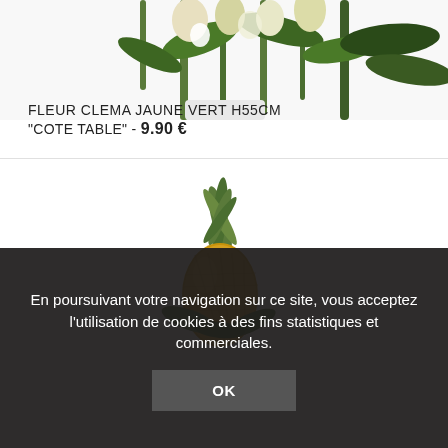[Figure (photo): Top portion of a floral arrangement with green stems and yellow-white flowers in a white vase, cropped at top]
FLEUR CLEMA JAUNE VERT H55CM
"COTE TABLE" - 9.90 €
[Figure (photo): A decorative pineapple-shaped ornament in golden-brown color with green leaves at the base, on white background]
En poursuivant votre navigation sur ce site, vous acceptez l'utilisation de cookies à des fins statistiques et commerciales.
OK